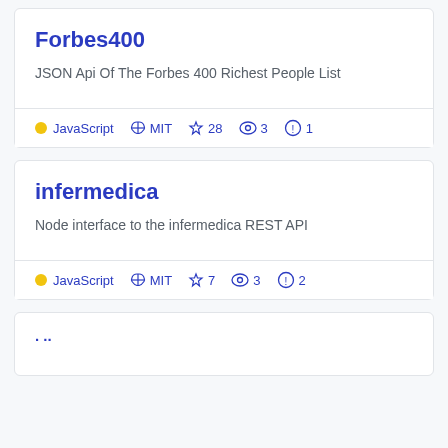Forbes400
JSON Api Of The Forbes 400 Richest People List
JavaScript  MIT  ☆ 28  👁 3  ⚠ 1
infermedica
Node interface to the infermedica REST API
JavaScript  MIT  ☆ 7  👁 3  ⚠ 2
...